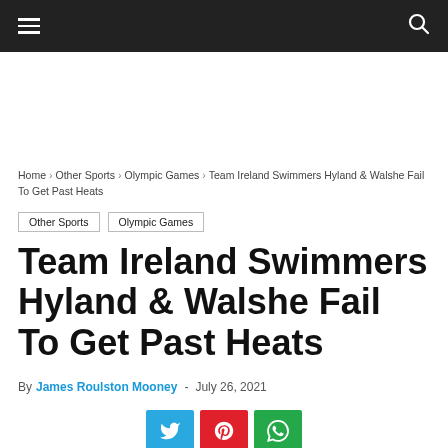Navigation bar with hamburger menu and search icon
Home › Other Sports › Olympic Games › Team Ireland Swimmers Hyland & Walshe Fail To Get Past Heats
Other Sports | Olympic Games
Team Ireland Swimmers Hyland & Walshe Fail To Get Past Heats
By James Roulston Mooney - July 26, 2021
[Figure (other): Social share buttons: Twitter (blue), Pinterest (red), WhatsApp (green)]